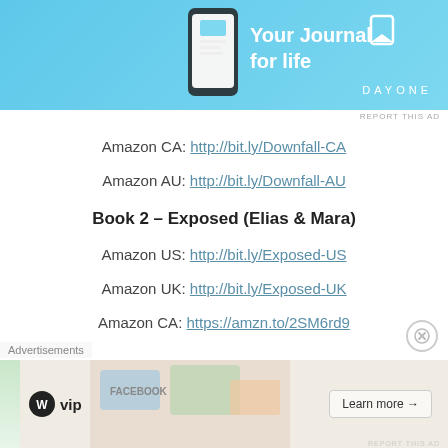[Figure (illustration): Blue banner advertisement for Day One - Your Journal for life, with phone image and bookmark icon]
REPORT THIS AD
Amazon CA: http://bit.ly/Downfall-CA
Amazon AU: http://bit.ly/Downfall-AU
Book 2 – Exposed (Elias & Mara)
Amazon US: http://bit.ly/Exposed-US
Amazon UK: http://bit.ly/Exposed-UK
Amazon CA: https://amzn.to/2SM6rd9
[Figure (illustration): WordPress VIP and Facebook advertisement banner with Learn more button]